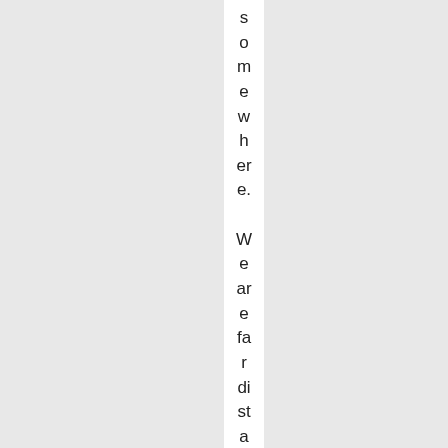somewhere. We are far distant from any rece